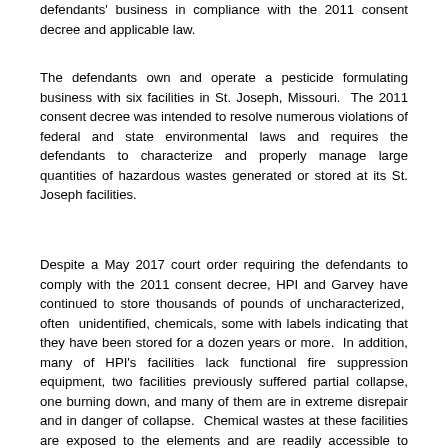defendants' business in compliance with the 2011 consent decree and applicable law.
The defendants own and operate a pesticide formulating business with six facilities in St. Joseph, Missouri. The 2011 consent decree was intended to resolve numerous violations of federal and state environmental laws and requires the defendants to characterize and properly manage large quantities of hazardous wastes generated or stored at its St. Joseph facilities.
Despite a May 2017 court order requiring the defendants to comply with the 2011 consent decree, HPI and Garvey have continued to store thousands of pounds of uncharacterized, often unidentified, chemicals, some with labels indicating that they have been stored for a dozen years or more. In addition, many of HPI's facilities lack functional fire suppression equipment, two facilities previously suffered partial collapse, one burning down, and many of them are in extreme disrepair and in danger of collapse. Chemical wastes at these facilities are exposed to the elements and are readily accessible to members of the public.